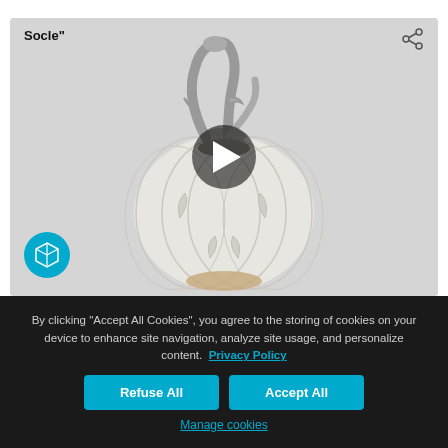[Figure (photo): Interactive 3D viewer showing a white ceramic pot/kettle with dragon handle and floral relief decoration, on a light gray background. Shows 'Socle"' label top-left, share icon top-right, play button overlay in center, and a 3D cube icon bottom-left.]
By clicking “Accept All Cookies”, you agree to the storing of cookies on your device to enhance site navigation, analyze site usage, and personalize content.  Privacy Policy
Refuse All
Accept All
Manage cookies